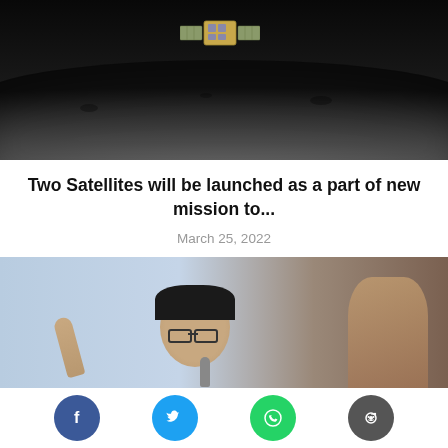[Figure (photo): Satellite orbiting above the moon surface against dark space background]
Two Satellites will be launched as a part of new mission to...
March 25, 2022
[Figure (photo): Woman with glasses speaking into microphone with finger raised, another person visible in background]
[Figure (other): Social share buttons: Facebook, Twitter, WhatsApp, Reddit]